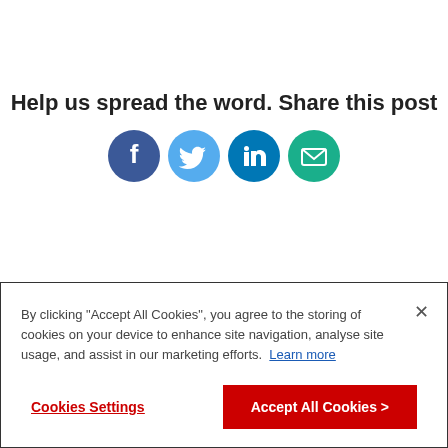Help us spread the word. Share this post
[Figure (infographic): Row of four colored social media share icons: Facebook (dark blue circle), Twitter (light blue circle), LinkedIn (teal blue circle), Email/envelope (teal circle)]
[Figure (infographic): Row of five black circle social media footer icons: Facebook, Instagram, LinkedIn, Snapchat, Twitter]
By clicking "Accept All Cookies", you agree to the storing of cookies on your device to enhance site navigation, analyse site usage, and assist in our marketing efforts. Learn more
Cookies Settings
Accept All Cookies >